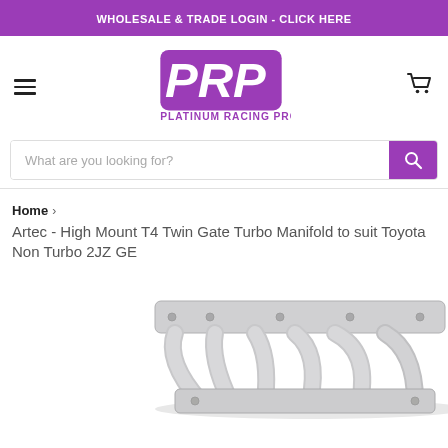WHOLESALE & TRADE LOGIN - CLICK HERE
[Figure (logo): PRP Platinum Racing Products logo with purple stylized PRP letters and text PLATINUM RACING PRODUCTS below]
What are you looking for?
Home › Artec - High Mount T4 Twin Gate Turbo Manifold to suit Toyota Non Turbo 2JZ GE
[Figure (photo): Silver turbo manifold product photo - Artec High Mount T4 Twin Gate Turbo Manifold for Toyota Non Turbo 2JZ GE]